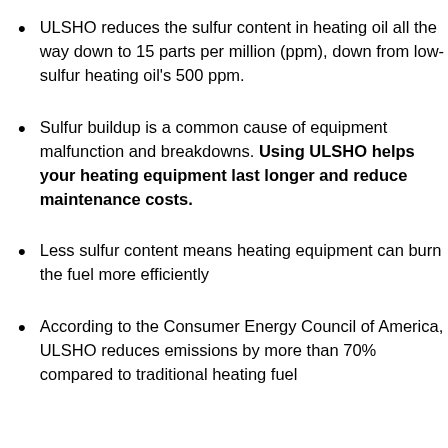ULSHO reduces the sulfur content in heating oil all the way down to 15 parts per million (ppm), down from low-sulfur heating oil's 500 ppm.
Sulfur buildup is a common cause of equipment malfunction and breakdowns. Using ULSHO helps your heating equipment last longer and reduce maintenance costs.
Less sulfur content means heating equipment can burn the fuel more efficiently
According to the Consumer Energy Council of America, ULSHO reduces emissions by more than 70% compared to traditional heating fuel